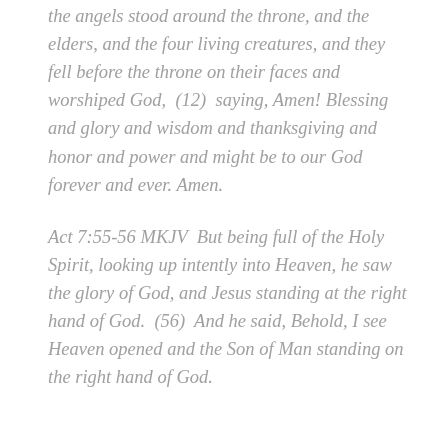the angels stood around the throne, and the elders, and the four living creatures, and they fell before the throne on their faces and worshiped God,  (12)  saying, Amen! Blessing and glory and wisdom and thanksgiving and honor and power and might be to our God forever and ever. Amen.
Act 7:55-56 MKJV  But being full of the Holy Spirit, looking up intently into Heaven, he saw the glory of God, and Jesus standing at the right hand of God.  (56)  And he said, Behold, I see Heaven opened and the Son of Man standing on the right hand of God.